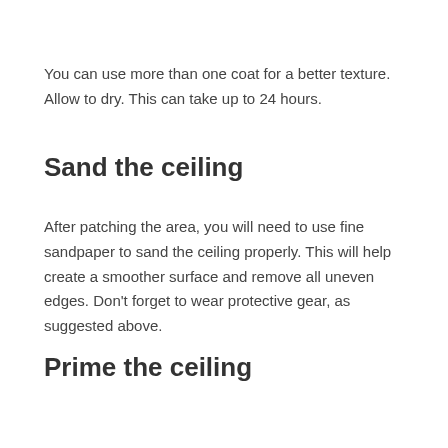You can use more than one coat for a better texture. Allow to dry. This can take up to 24 hours.
Sand the ceiling
After patching the area, you will need to use fine sandpaper to sand the ceiling properly. This will help create a smoother surface and remove all uneven edges. Don't forget to wear protective gear, as suggested above.
Prime the ceiling